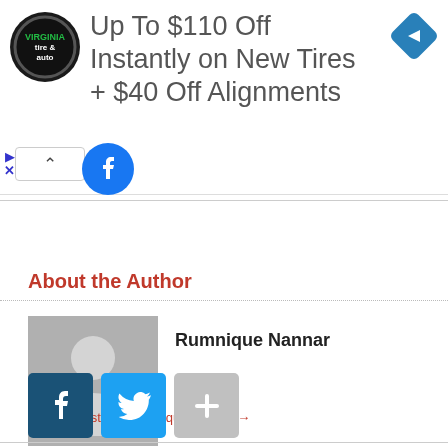[Figure (screenshot): Advertisement banner: Virginia Tire and Auto logo with text 'Up To $110 Off Instantly on New Tires + $40 Off Alignments' and a blue navigation icon on the right]
About the Author
[Figure (photo): Generic gray silhouette avatar for author Rumnique Nannar]
Rumnique Nannar
View all posts by Rumnique Nannar →
[Figure (infographic): Social share buttons: Facebook (dark blue), Twitter (light blue), and a gray plus button]